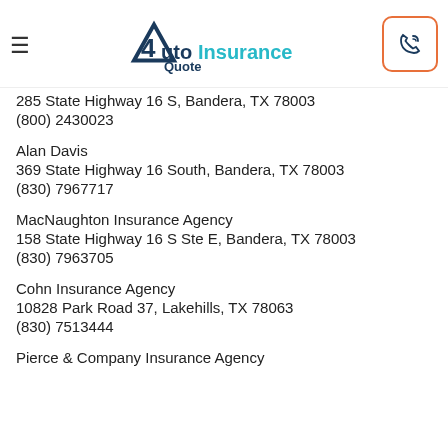AutoInsuranceQuote
285 State Highway 16 S, Bandera, TX 78003
(800) 2430023
Alan Davis
369 State Highway 16 South, Bandera, TX 78003
(830) 7967717
MacNaughton Insurance Agency
158 State Highway 16 S Ste E, Bandera, TX 78003
(830) 7963705
Cohn Insurance Agency
10828 Park Road 37, Lakehills, TX 78063
(830) 7513444
Pierce & Company Insurance Agency